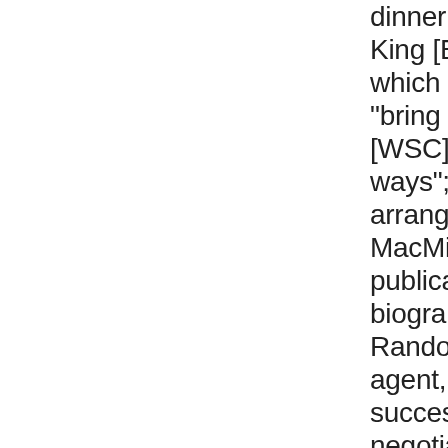dinner engagement with King [Edward VII] at which the King intends to "bring home to me [WSC] the error of my ways"; the terms of his arrangement with MacMillans for the publication [of his biography of Lord Randolph Churchill]; his agent, Frank Harris', success in the negotiations and discussion of illustrations for the book. Manuscript in the hand of Annette Anning signed by WSC and annotated "dictated".